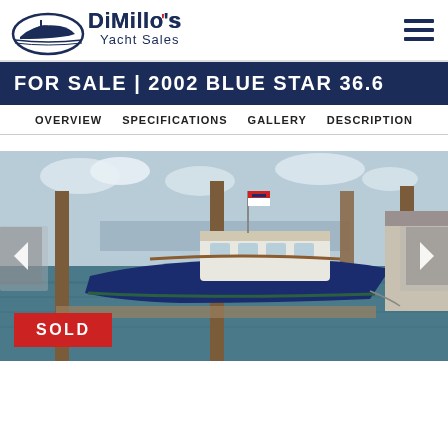DiMillo's Yacht Sales
FOR SALE | 2002 BLUE STAR 36.6
OVERVIEW   SPECIFICATIONS   GALLERY   DESCRIPTION
[Figure (photo): A blue-hulled motor yacht docked at a marina pier, with a red, white and blue flag flying, SOLD badge overlaid at bottom left]
SOLD